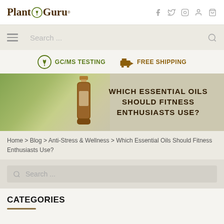Plant Guru
[Figure (screenshot): Navigation search bar with hamburger menu icon and search field]
[Figure (infographic): Promo bar with GC/MS Testing and Free Shipping icons and labels]
[Figure (photo): Hero banner with essential oil bottle and green herbs, title: WHICH ESSENTIAL OILS SHOULD FITNESS ENTHUSIASTS USE?]
Home > Blog > Anti-Stress & Wellness > Which Essential Oils Should Fitness Enthusiasts Use?
[Figure (screenshot): Sidebar search box with Search ... placeholder]
CATEGORIES